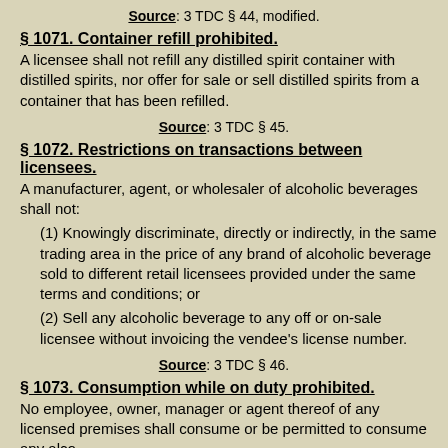Source: 3 TDC § 44, modified.
§ 1071.  Container refill prohibited.
A licensee shall not refill any distilled spirit container with distilled spirits, nor offer for sale or sell distilled spirits from a container that has been refilled.
Source: 3 TDC § 45.
§ 1072.  Restrictions on transactions between licensees.
A manufacturer, agent, or wholesaler of alcoholic beverages shall not:
(1)  Knowingly discriminate, directly or indirectly, in the same trading area in the price of any brand of alcoholic beverage sold to different retail licensees provided under the same terms and conditions; or
(2)  Sell any alcoholic beverage to any off or on-sale licensee without invoicing the vendee's license number.
Source: 3 TDC § 46.
§ 1073.  Consumption while on duty prohibited.
No employee, owner, manager or agent thereof of any licensed premises shall consume or be permitted to consume any alcoholic